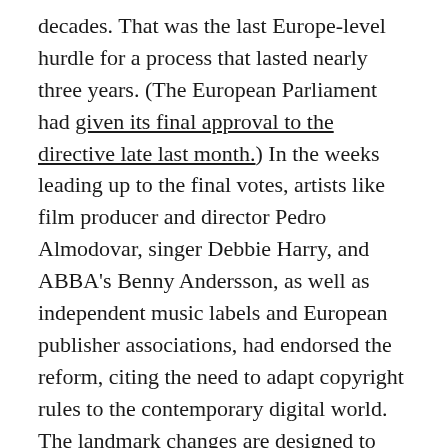decades. That was the last Europe-level hurdle for a process that lasted nearly three years. (The European Parliament had given its final approval to the directive late last month.) In the weeks leading up to the final votes, artists like film producer and director Pedro Almodovar, singer Debbie Harry, and ABBA's Benny Andersson, as well as independent music labels and European publisher associations, had endorsed the reform, citing the need to adapt copyright rules to the contemporary digital world. The landmark changes are designed to safeguard copyright-protected content on the internet to ensure that copyright holders like publishers, broadcasters, and artists are paid their fair share when their work appears online.